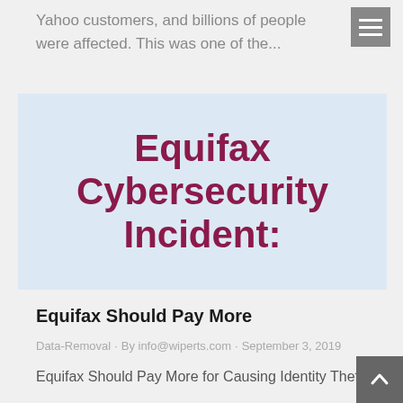Yahoo customers, and billions of people were affected. This was one of the...
[Figure (photo): Image with light blue background and large dark red/maroon bold text reading 'Equifax Cybersecurity Incident:']
Equifax Should Pay More
Data-Removal · By info@wiperts.com · September 3, 2019
Equifax Should Pay More for Causing Identity Theft